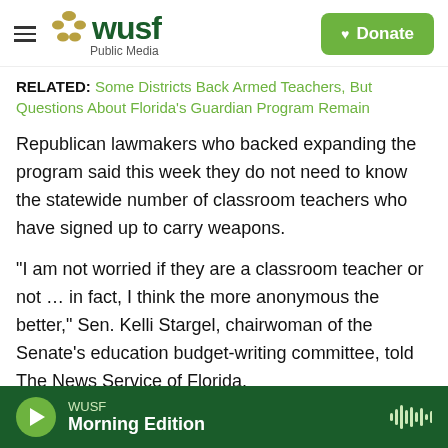WUSF Public Media — Donate
RELATED: Some Districts Back Armed Teachers, But Questions About Florida's Guardian Program Remain
Republican lawmakers who backed expanding the program said this week they do not need to know the statewide number of classroom teachers who have signed up to carry weapons.
“I am not worried if they are a classroom teacher or not … in fact, I think the more anonymous the better,” Sen. Kelli Stargel, chairwoman of the Senate’s education budget-writing committee, told The News Service of Florida.
WUSF Morning Edition